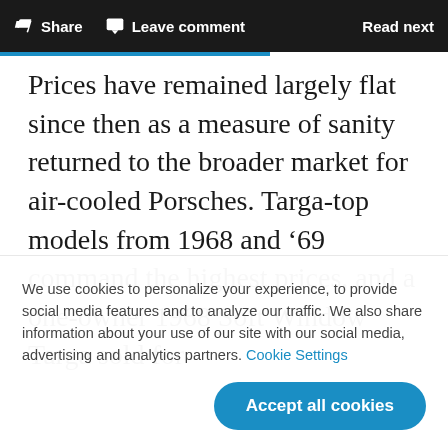Share  Leave comment  Read next
Prices have remained largely flat since then as a measure of sanity returned to the broader market for air-cooled Porsches. Targa-top models from 1968 and ’69 command the highest prices, and a one-owner 1968 Soft Window Targa sold for
We use cookies to personalize your experience, to provide social media features and to analyze our traffic. We also share information about your use of our site with our social media, advertising and analytics partners. Cookie Settings
Accept all cookies